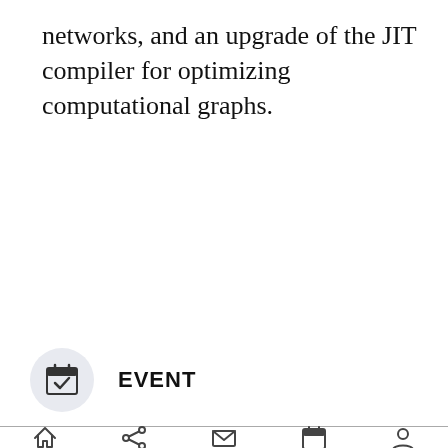networks, and an upgrade of the JIT compiler for optimizing computational graphs.
EVENT
[Figure (other): Calendar with checkmark icon in a circular grey button]
Navigation bar with home, share, mail, calendar, and person icons